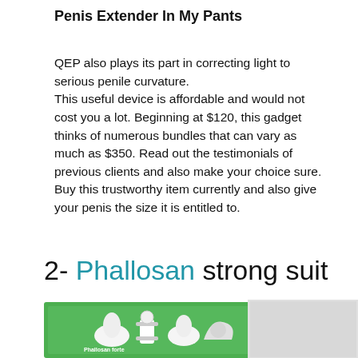Penis Extender In My Pants
QEP also plays its part in correcting light to serious penile curvature.
This useful device is affordable and would not cost you a lot. Beginning at $120, this gadget thinks of numerous bundles that can vary as much as $350. Read out the testimonials of previous clients and also make your choice sure.
Buy this trustworthy item currently and also give your penis the size it is entitled to.
2- Phallosan strong suit
[Figure (photo): Product image of a Phallosan forte device kit in a green box, showing components including clamps and connectors]